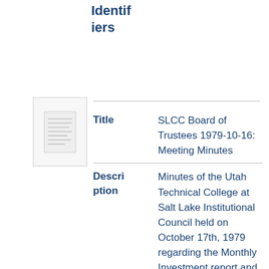Identifiers
[Figure (other): Thumbnail preview of a document page showing text lines]
| Field | Value |
| --- | --- |
| Title | SLCC Board of Trustees 1979-10-16: Meeting Minutes |
| Description | Minutes of the Utah Technical College at Salt Lake Institutional Council held on October 17th, 1979 regarding the Monthly Investment report and the Personnel Action |